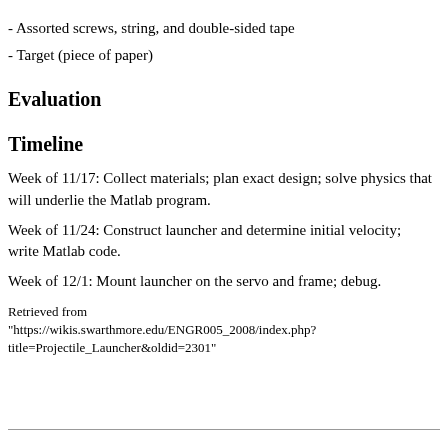- Assorted screws, string, and double-sided tape
- Target (piece of paper)
Evaluation
Timeline
Week of 11/17: Collect materials; plan exact design; solve physics that will underlie the Matlab program.
Week of 11/24: Construct launcher and determine initial velocity; write Matlab code.
Week of 12/1: Mount launcher on the servo and frame; debug.
Retrieved from "https://wikis.swarthmore.edu/ENGR005_2008/index.php?title=Projectile_Launcher&oldid=2301"